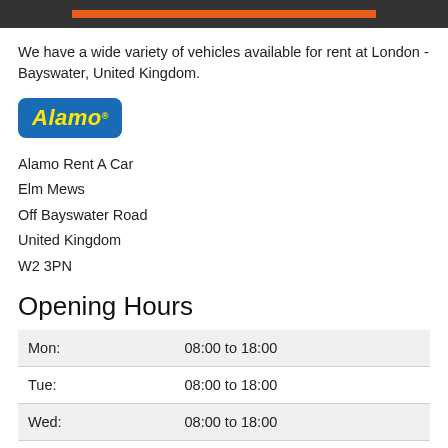[Figure (other): Dark top banner with orange/red horizontal bar centered]
We have a wide variety of vehicles available for rent at London - Bayswater, United Kingdom.
[Figure (logo): Alamo Rent A Car logo — blue rounded rectangle with yellow italic Alamo text]
Alamo Rent A Car
Elm Mews
Off Bayswater Road
United Kingdom
W2 3PN
Opening Hours
| Day | Hours |
| --- | --- |
| Mon: | 08:00 to 18:00 |
| Tue: | 08:00 to 18:00 |
| Wed: | 08:00 to 18:00 |
| Thu: | 08:00 to 18:00 |